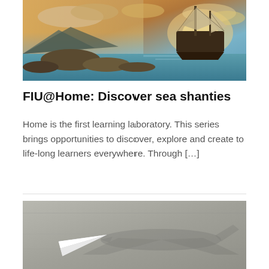[Figure (photo): A dramatic sunset scene with a tall sailing ship anchored near a rocky shoreline, colorful clouds in the sky, and turquoise ocean water.]
FIU@Home: Discover sea shanties
Home is the first learning laboratory. This series brings opportunities to discover, explore and create to life-long learners everywhere. Through […]
[Figure (photo): A black and white photo of a paper airplane on a concrete surface with a shadow cast in the shape of a large commercial airplane behind it.]